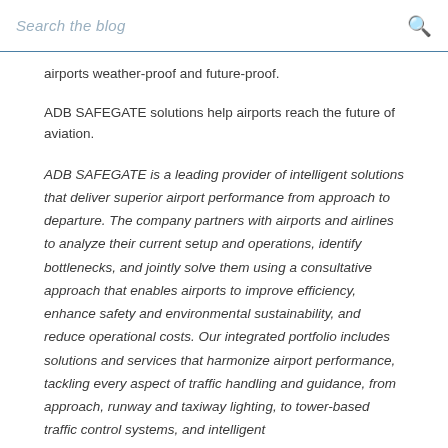Search the blog
airports weather-proof and future-proof.
ADB SAFEGATE solutions help airports reach the future of aviation.
ADB SAFEGATE is a leading provider of intelligent solutions that deliver superior airport performance from approach to departure. The company partners with airports and airlines to analyze their current setup and operations, identify bottlenecks, and jointly solve them using a consultative approach that enables airports to improve efficiency, enhance safety and environmental sustainability, and reduce operational costs. Our integrated portfolio includes solutions and services that harmonize airport performance, tackling every aspect of traffic handling and guidance, from approach, runway and taxiway lighting, to tower-based traffic control systems, and intelligent